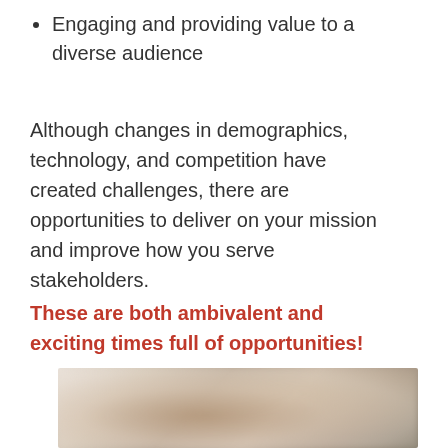Engaging and providing value to a diverse audience
Although changes in demographics, technology, and competition have created challenges, there are opportunities to deliver on your mission and improve how you serve stakeholders.
These are both ambivalent and exciting times full of opportunities!
[Figure (photo): Blurred photograph of a person, partially cropped at the bottom of the page]